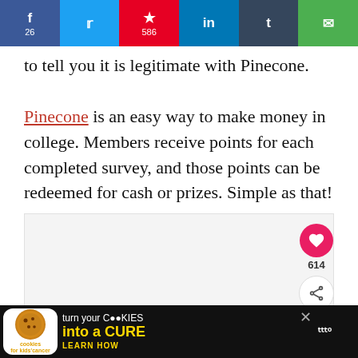[Figure (screenshot): Social media share bar with Facebook (26), Twitter, Pinterest (586), LinkedIn, Tumblr, and email buttons]
to tell you it is legitimate with Pinecone. Pinecone is an easy way to make money in college. Members receive points for each completed survey, and those points can be redeemed for cash or prizes. Simple as that!
[Figure (other): Image placeholder area with three dots carousel indicator and right-side action buttons: heart (614 likes) and share]
[Figure (other): Advertisement banner: cookies for kids cancer - turn your cookies into a CURE LEARN HOW]